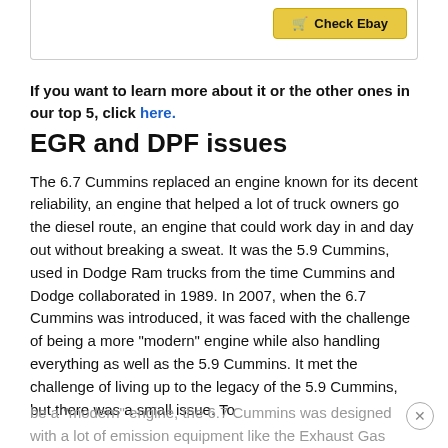[Figure (screenshot): Top portion of a bordered box showing a yellow 'Check Ebay' button with a cart icon in the upper right area.]
If you want to learn more about it or the other ones in our top 5, click here.
EGR and DPF issues
The 6.7 Cummins replaced an engine known for its decent reliability, an engine that helped a lot of truck owners go the diesel route, an engine that could work day in and day out without breaking a sweat. It was the 5.9 Cummins, used in Dodge Ram trucks from the time Cummins and Dodge collaborated in 1989. In 2007, when the 6.7 Cummins was introduced, it was faced with the challenge of being a more “modern” engine while also handling everything as well as the 5.9 Cummins. It met the challenge of living up to the legacy of the 5.9 Cummins, but there was a small issue. To be a “modern” engine, the 6.7 Cummins was designed with a lot of emission equipment like the Exhaust Gas Recirculation (EGR) Diesel Particulate Filter (DPF).